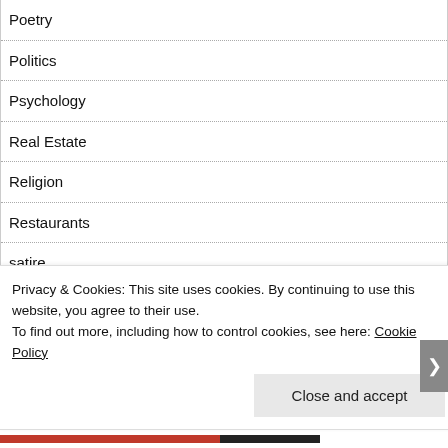Poetry
Politics
Psychology
Real Estate
Religion
Restaurants
satire
science
Sociology
Privacy & Cookies: This site uses cookies. By continuing to use this website, you agree to their use.
To find out more, including how to control cookies, see here: Cookie Policy
Close and accept